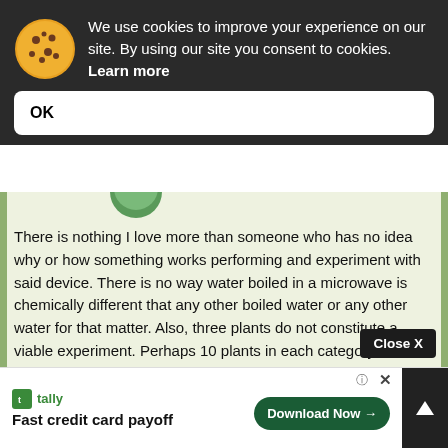We use cookies to improve your experience on our site. By using our site you consent to cookies. Learn more
OK
There is nothing I love more than someone who has no idea why or how something works performing and experiment with said device. There is no way water boiled in a microwave is chemically different that any other boiled water or any other water for that matter. Also, three plants do not constitute a viable experiment. Perhaps 10 plants in each category would be sufficient to notice a trend. Not to mention the possibilities of a weak plant to start with and soil differences, sunlight and other factors that would have to be regulated with extreme precision. You also never mentioned what the results were. Wholly unscientific and basically meaningless. Not to mention this could easily be a m...
Close X
tally Fast credit card payoff Download Now →